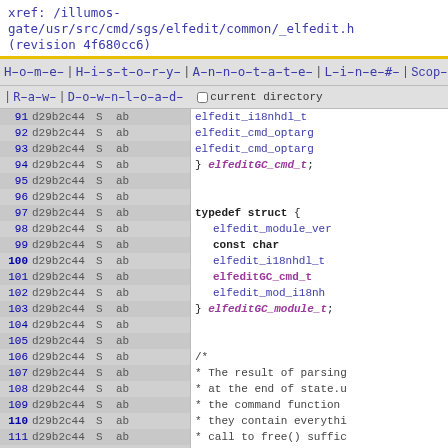xref: /illumos-gate/usr/src/cmd/sgs/elfedit/common/_elfedit.h (revision 4f680cc6)
Home | History | Annotate | Line# | Scopes# | Navigate# | Raw | Download | Search | current directory
[Figure (screenshot): Source code viewer showing lines 91-115 of _elfedit.h with line numbers, revision d29b2c44, S column, ab column, and C code content including typedef structs for elfeditGC_cmd_t and elfeditGC_module_t, and a comment block about parsing results]
typedef struct {
    elfedit_module_ver
    const char
    elfedit_i18nhdl_t
    elfeditGC_cmd_t
    elfedit_mod_i18nh
} elfeditGC_module_t;
/*
 * The result of parsing
 * at the end of state.u
 * the command function
 * they contain everythi
 * call to free() suffic
 * it references.
 */
typedef struct user_cmd